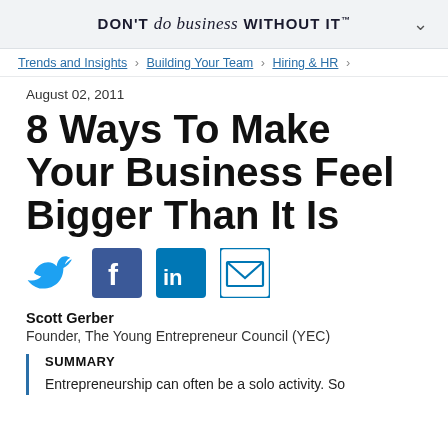DON'T do business WITHOUT IT™
Trends and Insights > Building Your Team > Hiring & HR >
August 02, 2011
8 Ways To Make Your Business Feel Bigger Than It Is
[Figure (other): Social sharing icons: Twitter, Facebook, LinkedIn, Email]
Scott Gerber
Founder, The Young Entrepreneur Council (YEC)
SUMMARY
Entrepreneurship can often be a solo activity. So